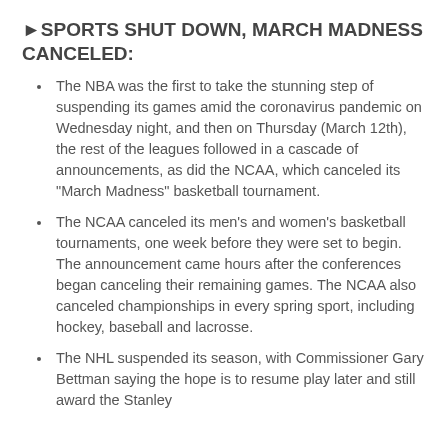►SPORTS SHUT DOWN, MARCH MADNESS CANCELED:
The NBA was the first to take the stunning step of suspending its games amid the coronavirus pandemic on Wednesday night, and then on Thursday (March 12th), the rest of the leagues followed in a cascade of announcements, as did the NCAA, which canceled its "March Madness" basketball tournament.
The NCAA canceled its men's and women's basketball tournaments, one week before they were set to begin. The announcement came hours after the conferences began canceling their remaining games. The NCAA also canceled championships in every spring sport, including hockey, baseball and lacrosse.
The NHL suspended its season, with Commissioner Gary Bettman saying the hope is to resume play later and still award the Stanley